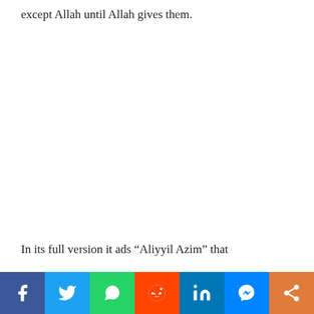except Allah until Allah gives them.
In its full version it ads “Aliyyil Azim” that
[Figure (infographic): Social media share bar with icons for Facebook, Twitter, WhatsApp, Reddit, LinkedIn, Messenger, and Share buttons]